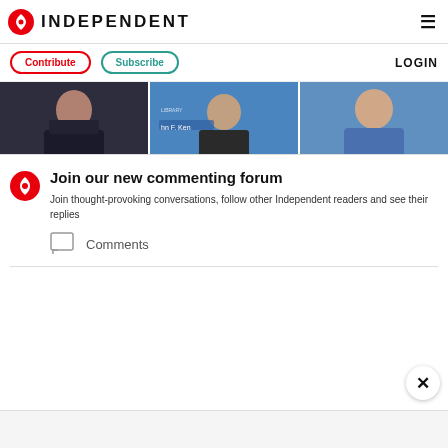INDEPENDENT
Contribute  Subscribe  LOGIN
[Figure (photo): Three photo thumbnails in a horizontal strip showing public figures]
Join our new commenting forum
Join thought-provoking conversations, follow other Independent readers and see their replies
Comments